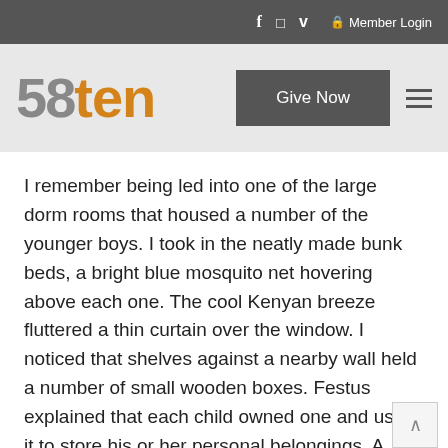f  [instagram]  v  [lock] Member Login
[Figure (logo): 58ten logo — stylized '58ten' with '5' and '8' in gray and 'ten' in orange]
Give Now
I remember being led into one of the large dorm rooms that housed a number of the younger boys. I took in the neatly made bunk beds, a bright blue mosquito net hovering above each one. The cool Kenyan breeze fluttered a thin curtain over the window. I noticed that shelves against a nearby wall held a number of small wooden boxes. Festus explained that each child owned one and used it to store his or her personal belongings. A small wooden box. A box containing all of the possessions they had in this world. Phew...Lord,